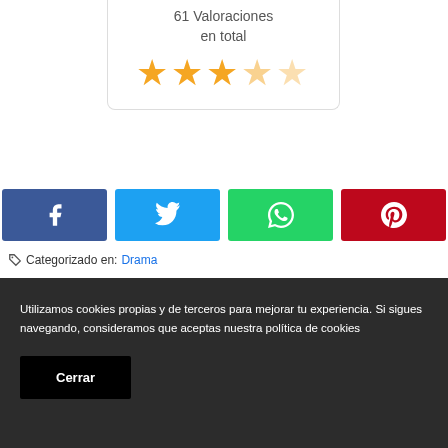61 Valoraciones en total
[Figure (other): Star rating display showing 3 filled orange stars and 2 empty/outline orange stars]
[Figure (other): Social sharing buttons: Facebook (dark blue, f icon), Twitter (light blue, bird icon), WhatsApp (green, phone icon), Pinterest (dark red, P icon)]
Categorizado en: Drama
Utilizamos cookies propias y de terceros para mejorar tu experiencia. Si sigues navegando, consideramos que aceptas nuestra política de cookies
Cerrar